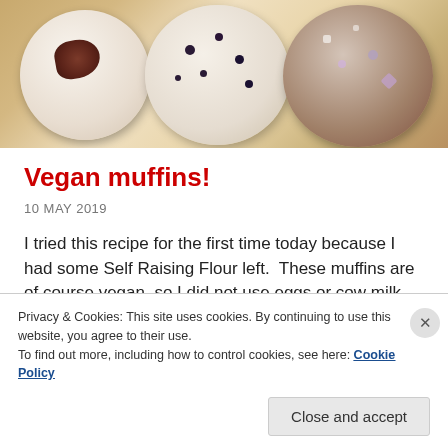[Figure (photo): Three vegan muffins on a wooden surface — left one is white with chocolate, center is light with blueberries, right is chocolate/dark with sprinkles and heart decorations]
Vegan muffins!
10 MAY 2019
I tried this recipe for the first time today because I had some Self Raising Flour left.  These muffins are of course vegan, so I did not use eggs or cow milk.  They are very fluffy and tasty even though … Continue reading
Privacy & Cookies: This site uses cookies. By continuing to use this website, you agree to their use.
To find out more, including how to control cookies, see here: Cookie Policy
Close and accept